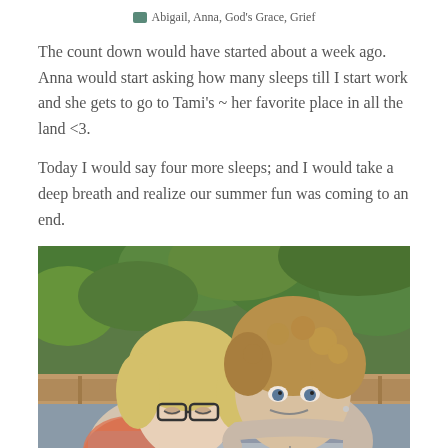Abigail, Anna, God's Grace, Grief
The count down would have started about a week ago. Anna would start asking how many sleeps till I start work and she gets to go to Tami's ~ her favorite place in all the land <3.
Today I would say four more sleeps; and I would take a deep breath and realize our summer fun was coming to an end.
[Figure (photo): Two women leaning together affectionately outdoors with green foliage in background. One woman has straight blonde hair and glasses, the other has curly brown hair. They are embracing warmly.]